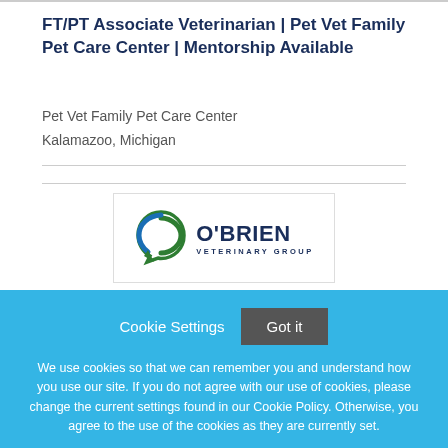FT/PT Associate Veterinarian | Pet Vet Family Pet Care Center | Mentorship Available
Pet Vet Family Pet Care Center
Kalamazoo, Michigan
[Figure (logo): O'Brien Veterinary Group logo with blue circular arrow icon and navy blue text]
Cookie Settings   Got it

We use cookies so that we can remember you and understand how you use our site. If you do not agree with our use of cookies, please change the current settings found in our Cookie Policy. Otherwise, you agree to the use of the cookies as they are currently set.